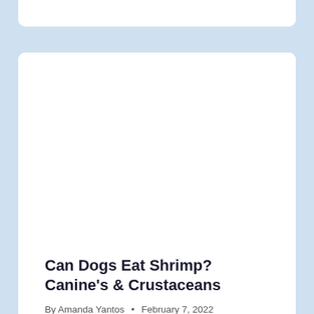[Figure (other): White card placeholder at top of page, partially visible]
[Figure (photo): Large image placeholder area within main article card — image content not visible]
Can Dogs Eat Shrimp? Canine's & Crustaceans
By Amanda Yantos • February 7, 2022